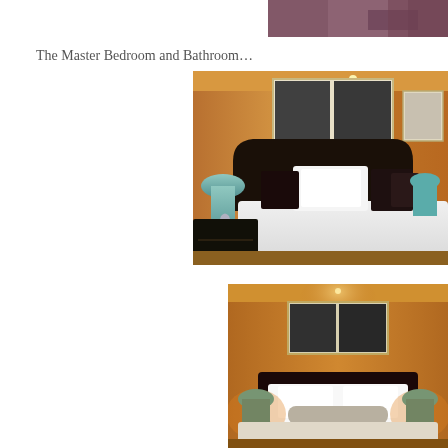[Figure (photo): Partial top edge of a room photo showing purple/mauve wall or ceiling]
The Master Bedroom and Bathroom…
[Figure (photo): Master bedroom with wood-panelled walls, dark leather headboard, white bedding, dark decorative pillows, teal bedside lamps, framed artwork above bed, dark nightstand with metallic vase]
[Figure (photo): Master bedroom front-on view showing wood-panelled wall, framed artwork above headboard, two teal bedside lamps, white pillows and cylindrical bolster pillow on bed with dark headboard]